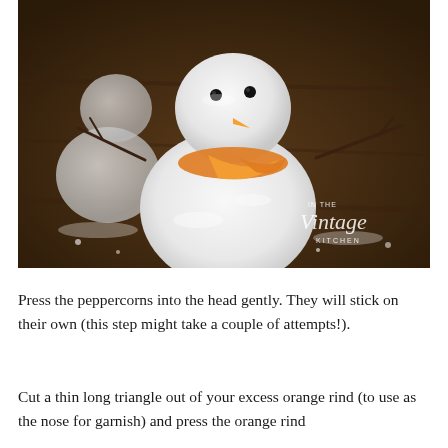[Figure (photo): Close-up photo of snowman-shaped powdered sugar donut balls on a wooden surface dusted with powdered sugar. The snowman in the foreground has black peppercorn eyes, an orange rind nose and scarf, and twig arms. Watermark reads 'IN THE Vintage KITCHEN' in the bottom right corner.]
Press the peppercorns into the head gently. They will stick on their own (this step might take a couple of attempts!).
Cut a thin long triangle out of your excess orange rind (to use as the nose for garnish) and press the orange rind